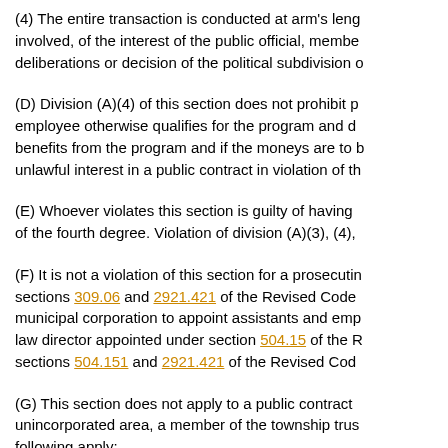(4) The entire transaction is conducted at arm's length involved, of the interest of the public official, member deliberations or decision of the political subdivision o
(D) Division (A)(4) of this section does not prohibit p employee otherwise qualifies for the program and d benefits from the program and if the moneys are to b unlawful interest in a public contract in violation of th
(E) Whoever violates this section is guilty of having of the fourth degree. Violation of division (A)(3), (4),
(F) It is not a violation of this section for a prosecutin sections 309.06 and 2921.421 of the Revised Code municipal corporation to appoint assistants and emp law director appointed under section 504.15 of the R sections 504.151 and 2921.421 of the Revised Cod
(G) This section does not apply to a public contract unincorporated area, a member of the township trus following apply:
(1) The subject of the public contract is necessary s dollars per year;